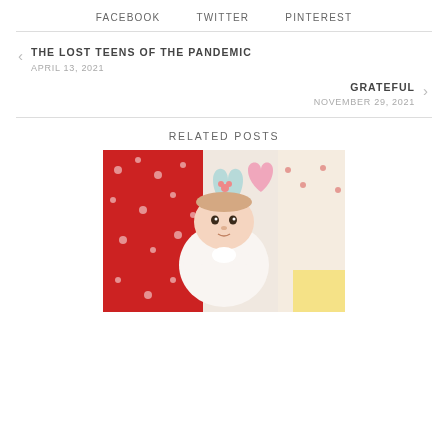FACEBOOK   TWITTER   PINTEREST
THE LOST TEENS OF THE PANDEMIC
APRIL 13, 2021
GRATEFUL
NOVEMBER 29, 2021
RELATED POSTS
[Figure (photo): Baby lying on a colorful patchwork quilt with red, pink, blue, and yellow heart-shaped fabric pieces. The baby is wearing white and looking at the camera.]